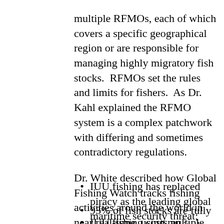multiple RFMOs, each of which covers a specific geographical region or are responsible for managing highly migratory fish stocks.  RFMOs set the rules and limits for fishers.  As Dr. Kahl explained the RFMO system is a complex patchwork with differing and sometimes contradictory regulations. Dr. White described how Global Fishing Watch tracks fishing activities around the world in near real-time, using multiple sources of information, and identifies fishing trips and vessel's patterns of activity, and gaps in their required broadcasting of Automatic Identification System (AIS) and Vessel Monitoring System (VMS) data. Major points made by presenters in the morning of Day 1 included:
IUU fishing has replaced piracy as the leading global maritime security threat;
93% of fish stocks are fully exploited, over exploited or significantly depleted;
IUU fishing costs an estimated US$23.5 billion annually (according to Pew);